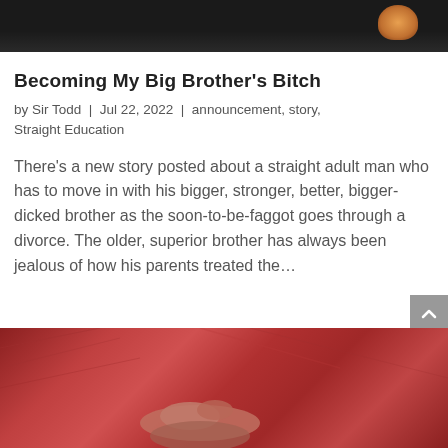[Figure (photo): Dark background photo, partially visible at top of page, with orange/amber accent shape visible on right side]
Becoming My Big Brother's Bitch
by Sir Todd | Jul 22, 2022 | announcement, story, Straight Education
There’s a new story posted about a straight adult man who has to move in with his bigger, stronger, better, bigger-dicked brother as the soon-to-be-faggot goes through a divorce. The older, superior brother has always been jealous of how his parents treated the…
[Figure (photo): Bottom photo showing hands on a person's head against a red/maroon patterned fabric background]